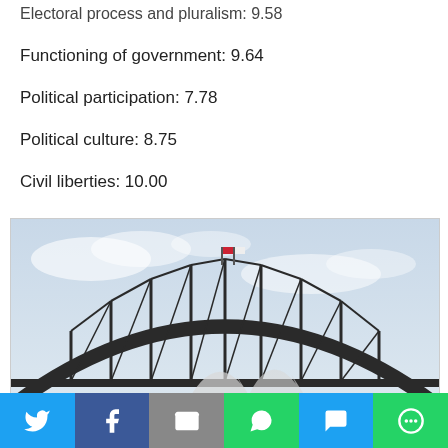Electoral process and pluralism: 9.58
Functioning of government: 9.64
Political participation: 7.78
Political culture: 8.75
Civil liberties: 10.00
[Figure (photo): Sydney Harbour Bridge arch, with flags visible at the apex, under an overcast sky with partial view of Opera House sails below]
Share buttons: Twitter, Facebook, Email, WhatsApp, SMS, More